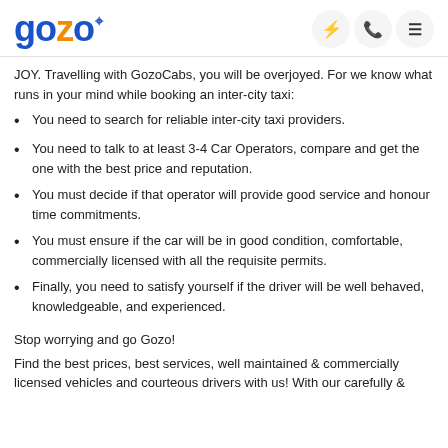gozo [logo with navigation icons]
JOY. Travelling with GozoCabs, you will be overjoyed. For we know what runs in your mind while booking an inter-city taxi:
You need to search for reliable inter-city taxi providers.
You need to talk to at least 3-4 Car Operators, compare and get the one with the best price and reputation.
You must decide if that operator will provide good service and honour time commitments.
You must ensure if the car will be in good condition, comfortable, commercially licensed with all the requisite permits.
Finally, you need to satisfy yourself if the driver will be well behaved, knowledgeable, and experienced.
Stop worrying and go Gozo!
Find the best prices, best services, well maintained & commercially licensed vehicles and courteous drivers with us! With our carefully &